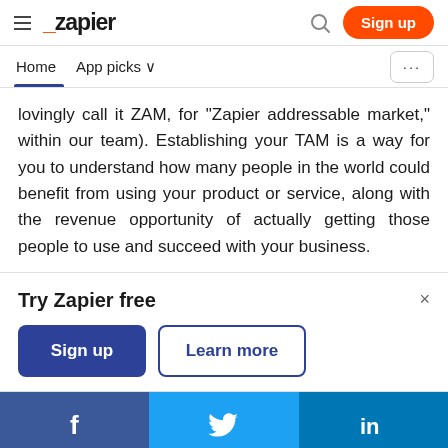Zapier — Sign up
Home  App picks
lovingly call it ZAM, for "Zapier addressable market," within our team). Establishing your TAM is a way for you to understand how many people in the world could benefit from using your product or service, along with the revenue opportunity of actually getting those people to use and succeed with your business.
Try Zapier free
Sign up  Learn more
[Figure (screenshot): Social share buttons: Facebook, Twitter, LinkedIn]